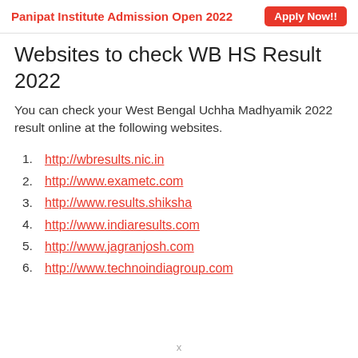Panipat Institute Admission Open 2022   Apply Now!!
Websites to check WB HS Result 2022
You can check your West Bengal Uchha Madhyamik 2022 result online at the following websites.
1. http://wbresults.nic.in
2. http://www.exametc.com
3. http://www.results.shiksha
4. http://www.indiaresults.com
5. http://www.jagranjosh.com
6. http://www.technoindiagroup.com